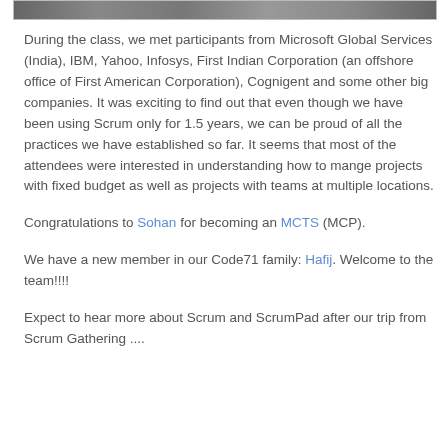[Figure (photo): Partial photo strip at the top of the page showing people in a class/group setting]
During the class, we met participants from Microsoft Global Services (India), IBM, Yahoo, Infosys, First Indian Corporation (an offshore office of First American Corporation), Cognigent and some other big companies. It was exciting to find out that even though we have been using Scrum only for 1.5 years, we can be proud of all the practices we have established so far. It seems that most of the attendees were interested in understanding how to mange projects with fixed budget as well as projects with teams at multiple locations.
Congratulations to Sohan for becoming an MCTS (MCP).
We have a new member in our Code71 family: Hafij. Welcome to the team!!!!
Expect to hear more about Scrum and ScrumPad after our trip from Scrum Gathering ....